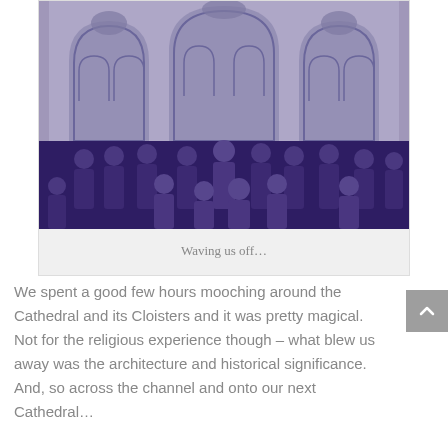[Figure (photo): Black and white photo with purple color treatment showing a choir or clergy group in purple robes standing in front of Gothic cathedral arches and tracery windows]
Waving us off...
We spent a good few hours mooching around the Cathedral and its Cloisters and it was pretty magical. Not for the religious experience though – what blew us away was the architecture and historical significance. And, so across the channel and onto our next Cathedral…